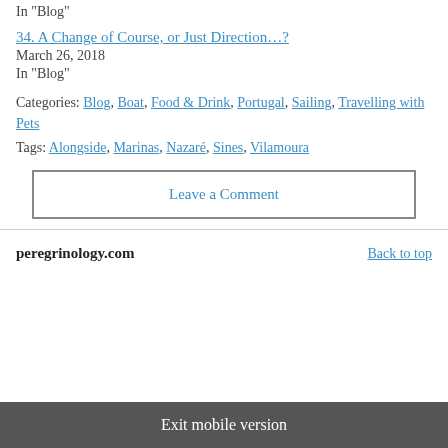In "Blog"
34. A Change of Course, or Just Direction…?
March 26, 2018
In "Blog"
Categories: Blog, Boat, Food & Drink, Portugal, Sailing, Travelling with Pets
Tags: Alongside, Marinas, Nazaré, Sines, Vilamoura
Leave a Comment
peregrinology.com
Back to top
Exit mobile version